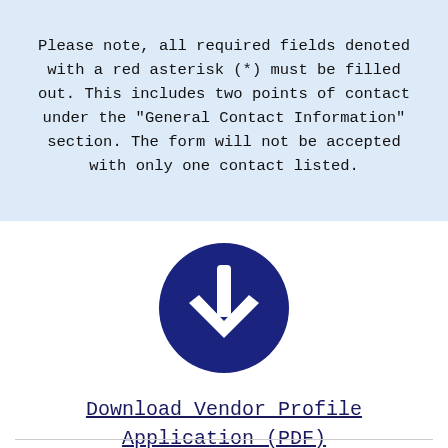Please note, all required fields denoted with a red asterisk (*) must be filled out. This includes two points of contact under the "General Contact Information" section. The form will not be accepted with only one contact listed.
[Figure (illustration): Dark blue circle with a white downward-pointing arrow icon, representing a download button.]
Download Vendor Profile Application (PDF)